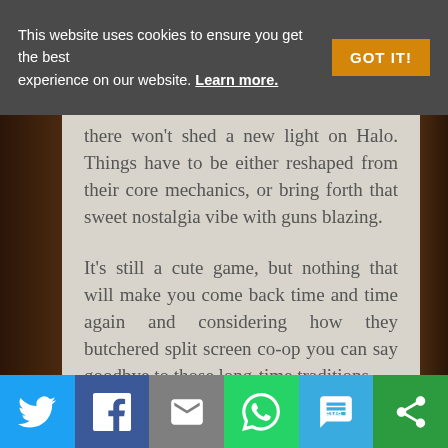This website uses cookies to ensure you get the best experience on our website. Learn more.
there won't shed a new light on Halo. Things have to be either reshaped from their core mechanics, or bring forth that sweet nostalgia vibe with guns blazing.
It's still a cute game, but nothing that will make you come back time and time again and considering how they butchered split screen co-op you can say goodbye to those long-time traditions.
[Social share buttons: Twitter, Facebook, Email, WhatsApp, SMS, More]